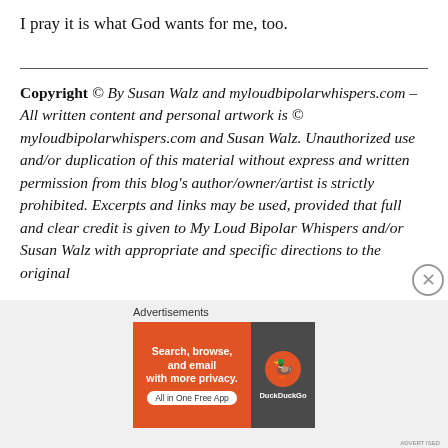I pray it is what God wants for me, too.
Copyright © By Susan Walz and myloudbipolarwhispers.com – All written content and personal artwork is © myloudbipolarwhispers.com and Susan Walz. Unauthorized use and/or duplication of this material without express and written permission from this blog's author/owner/artist is strictly prohibited. Excerpts and links may be used, provided that full and clear credit is given to My Loud Bipolar Whispers and/or Susan Walz with appropriate and specific directions to the original content.
Advertisements
[Figure (screenshot): DuckDuckGo advertisement banner: orange left panel with text 'Search, browse, and email with more privacy.' and 'All in One Free App', dark right panel with DuckDuckGo logo and duck icon.]